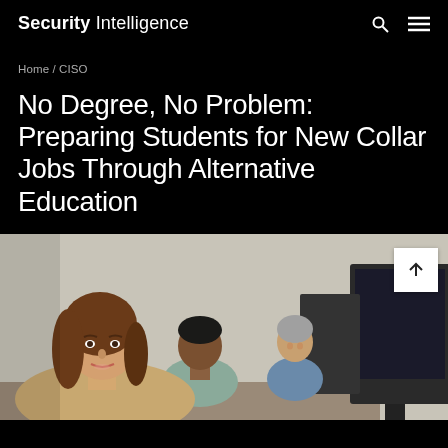Security Intelligence
Home / CISO
No Degree, No Problem: Preparing Students for New Collar Jobs Through Alternative Education
[Figure (photo): Three people seated at computers in a classroom or training lab. A young woman with long brown hair is in the foreground looking toward the camera. Behind her, a man and an older woman both look at computer monitors.]